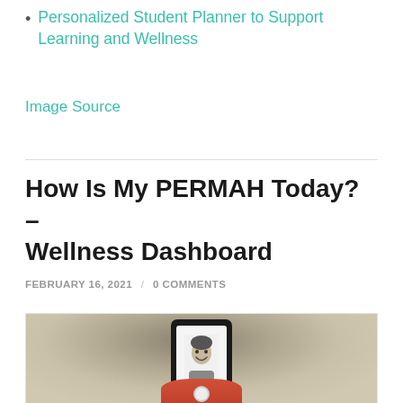Personalized Student Planner to Support Learning and Wellness
Image Source
How Is My PERMAH Today? – Wellness Dashboard
FEBRUARY 16, 2021 / 0 COMMENTS
[Figure (photo): Person holding a smartphone taking a selfie; the phone screen shows a black-and-white photo of a smiling person; the subject is blurred in the foreground.]